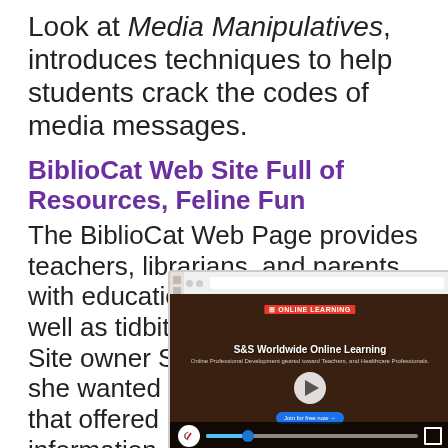Look at Media Manipulatives, introduces techniques to help students crack the codes of media messages.
BiblioCat Web Site Full of Resources, Feline Fun
The BiblioCat Web Page provides teachers, librarians, and parents with educational resources as well as tidbits about library cats. Site owner Sheryl Skufca says she wanted to start a Web page that offered practical, easy-to-find information. Included Teachers comment about the sites usefulness.
Student Essays… School
Teachers who lis… Less homework. predictable thin…
[Figure (screenshot): Screenshot of S&S Worldwide Online Learning website with video player showing play button, progress bar, mute icon, and fullscreen button]